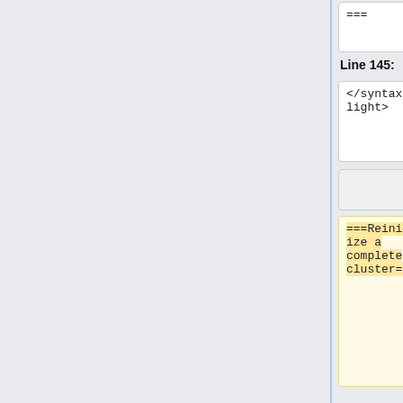===
===
Line 145:
Line 94:
</syntaxhighlight>
</syntaxhighlight>
===Reinitialize a complete cluster===
If you need to restart all API servers, it might be wise to start with the ones that are not currently leading the cluster (to avoid